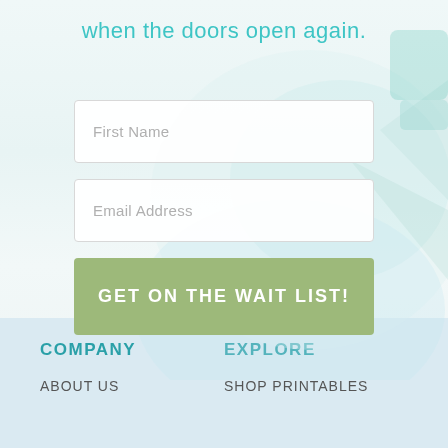when the doors open again.
[Figure (illustration): Background cartoon/illustration with speech bubble and colorful character elements faded behind the form]
First Name
Email Address
GET ON THE WAIT LIST!
COMPANY | EXPLORE | ABOUT US | SHOP PRINTABLES